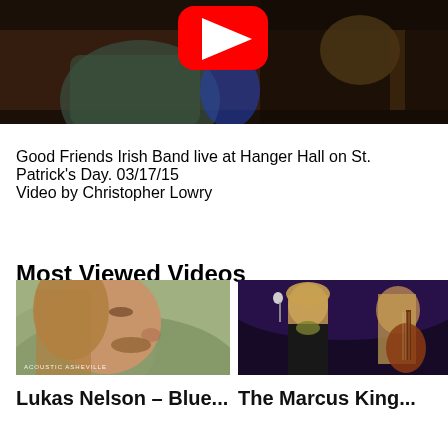[Figure (screenshot): YouTube video thumbnail showing musicians performing at Hanger Hall, with a red YouTube play button overlay visible in the upper center]
Good Friends Irish Band live at Hanger Hall on St. Patrick's Day. 03/17/15
Video by Christopher Lowry
Most Viewed Videos
[Figure (photo): Close-up photo of a man with long hair, eyes closed, with text 'Acoustic Asheville' watermark at bottom left]
[Figure (photo): Photo of two musicians performing on stage, one with long hair singing into microphone, another playing guitar]
Lukas Nelson – Blue...
The Marcus King...